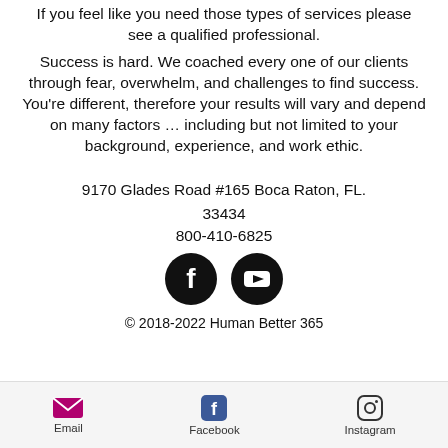If you feel like you need those types of services please see a qualified professional.
Success is hard. We coached every one of our clients through fear, overwhelm, and challenges to find success. You're different, therefore your results will vary and depend on many factors … including but not limited to your background, experience, and work ethic.
9170 Glades Road #165 Boca Raton, FL. 33434
800-410-6825
[Figure (logo): Facebook and YouTube social media icons (black circles with white logos)]
© 2018-2022 Human Better 365
Email  Facebook  Instagram